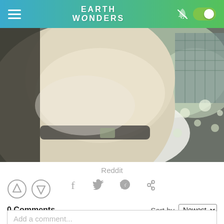Earth Wonders
[Figure (photo): Close-up photo of a fluffy dog snout/nose from below, with a dark collar and blurry background]
Reddit
[Figure (infographic): Social share icons: Facebook, Twitter, Pinterest, Link]
[Figure (infographic): Upvote and downvote arrow circle buttons]
0 Comments
Sort by Newest
Add a comment...